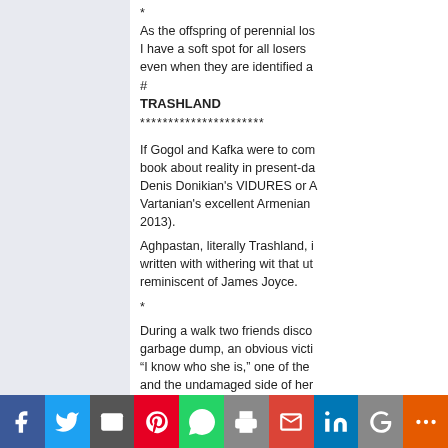* As the offspring of perennial losers I have a soft spot for all losers even when they are identified as
#
TRASHLAND
**********************
If Gogol and Kafka were to compose a book about reality in present-day Denis Donikian's VIDURES or A Vartanian's excellent Armenian 2013).
Aghpastan, literally Trashland, is written with withering wit that ut reminiscent of James Joyce.
*
During a walk two friends disco garbage dump, an obvious victi "I know who she is," one of the and the undamaged side of her The other is outraged. "The cops! The cops? Can you station? Walking in is easy. The you never come out." "But it is against the law not to murder and another murder nex the next victims? If you and I am